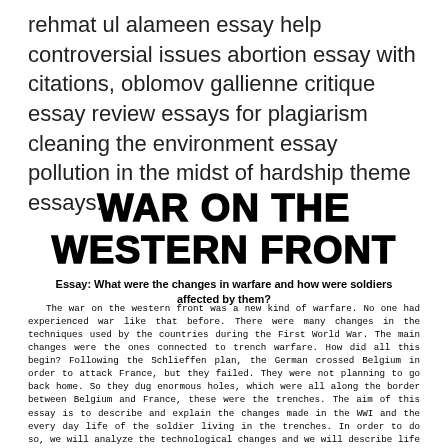rehmat ul alameen essay help controversial issues abortion essay with citations, oblomov gallienne critique essay review essays for plagiarism cleaning the environment essay pollution in the midst of hardship theme essays.
WAR ON THE WESTERN FRONT
Essay: What were the changes in warfare and how were soldiers affected by them?
The war on the western front was a new kind of warfare. No one had experienced war like that before. There were many changes in the techniques used by the countries during the First World War. The main changes were the ones connected to trench warfare. How did all this begin? Following the Schlieffen plan, the German crossed Belgium in order to attack France, but they failed. They were not planning to go back home. So they dug enormous holes, which were all along the border between Belgium and France, these were the trenches. The aim of this essay is to describe and explain the changes made in the WWI and the every day life of the soldier living in the trenches. In order to do so, we will analyze the technological changes and we will describe life in the trenches.
Trench warfare was the main change introduced in WWI. Now instead of a moving war, this was a static war. The trenches began as simple shelters, but